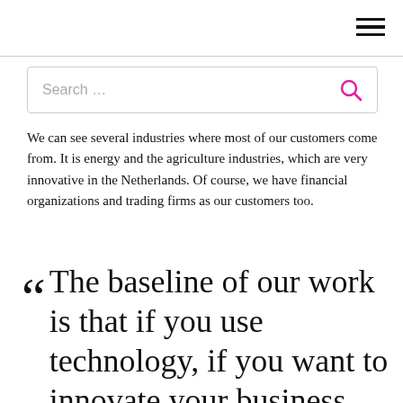☰ (hamburger menu icon)
Search …
We can see several industries where most of our customers come from. It is energy and the agriculture industries, which are very innovative in the Netherlands. Of course, we have financial organizations and trading firms as our customers too.
“ The baseline of our work is that if you use technology, if you want to innovate your business, then you probably should be